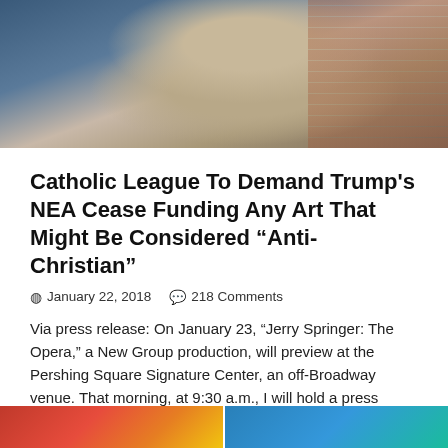[Figure (photo): Photo of a man in a grey suit with a red tie, sitting in front of a brick wall background]
Catholic League To Demand Trump's NEA Cease Funding Any Art That Might Be Considered “Anti-Christian”
January 22, 2018   218 Comments
Via press release: On January 23, “Jerry Springer: The Opera,” a New Group production, will preview at the Pershing Square Signature Center, an off-Broadway venue. That morning, at 9:30 a.m., I will hold a press conference at the National Press Club in Washington D.C., raising objections to the play and the source of funding for the New Group. Regarding the …
Read More »
[Figure (photo): Bottom strip showing partial images — colorful artwork on the left and blue tones on the right]